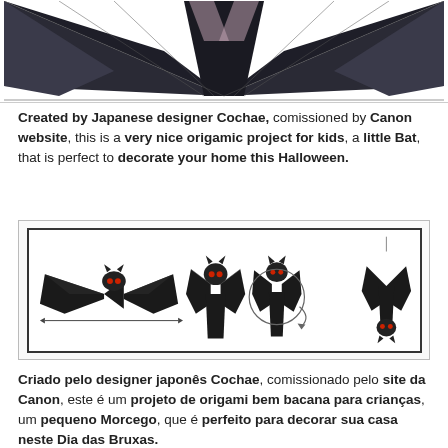[Figure (illustration): Top portion of a paper origami bat craft with wings spread, dark/black coloring with light purple inner wing details, shown against white background]
Created by Japanese designer Cochae, comissioned by Canon website, this is a very nice origamic project for kids, a little Bat, that is perfect to decorate your home this Halloween.
[Figure (illustration): Step-by-step assembly diagram for paper origami bat craft showing 5 stages: bat with wings spread open, bat folded upright, bat folded smaller, bat being rolled/curved, and completed hanging bat ornament]
Criado pelo designer japonês Cochae, comissionado pelo site da Canon, este é um projeto de origami bem bacana para crianças, um pequeno Morcego, que é perfeito para decorar sua casa neste Dia das Bruxas.